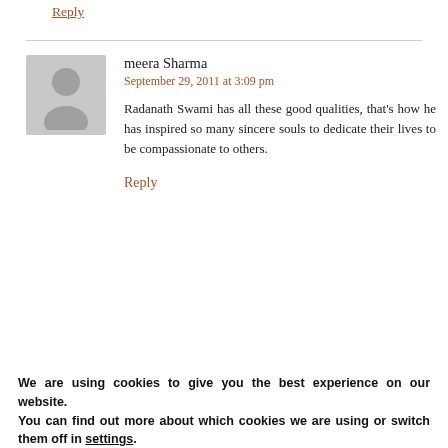Reply
meera Sharma
September 29, 2011 at 3:09 pm
Radanath Swami has all these good qualities, that's how he has inspired so many sincere souls to dedicate their lives to be compassionate to others.
Reply
We are using cookies to give you the best experience on our website.
You can find out more about which cookies we are using or switch them off in settings.
Accept